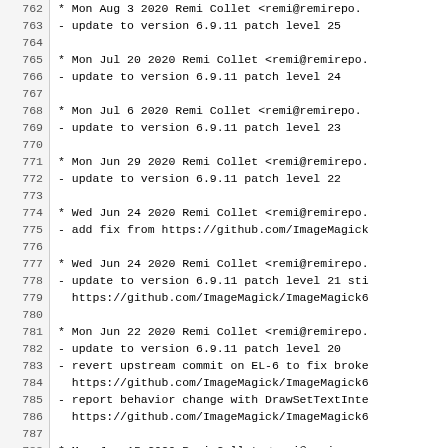Changelog / spec file with line numbers 762-791, showing update log entries for ImageMagick package by Remi Collet.
762 * Mon Aug  3 2020 Remi Collet <remi@remirepo.
763 - update to version 6.9.11 patch level 25
765 * Mon Jul 20 2020 Remi Collet <remi@remirepo.
766 - update to version 6.9.11 patch level 24
768 * Mon Jul  6 2020 Remi Collet <remi@remirepo.
769 - update to version 6.9.11 patch level 23
771 * Mon Jun 29 2020 Remi Collet <remi@remirepo.
772 - update to version 6.9.11 patch level 22
774 * Wed Jun 24 2020 Remi Collet <remi@remirepo.
775 - add fix from https://github.com/ImageMagick
777 * Wed Jun 24 2020 Remi Collet <remi@remirepo.
778 - update to version 6.9.11 patch level 21 sti
779   https://github.com/ImageMagick/ImageMagick6
781 * Mon Jun 22 2020 Remi Collet <remi@remirepo.
782 - update to version 6.9.11 patch level 20
783 - revert upstream commit on EL-6 to fix broke
784   https://github.com/ImageMagick/ImageMagick6
785 - report behavior change with DrawSetTextInte
786   https://github.com/ImageMagick/ImageMagick6
788 * Mon Jun 15 2020 Remi Collet <remi@remirepo.
789 - update to version 6.9.11 patch level 19
791 * Tue Jun  9 2020 Remi Collet <remi@remirepo.